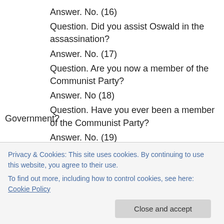Answer. No. (16)
Question. Did you assist Oswald in the assassination?
Answer. No. (17)
Question. Are you now a member of the Communist Party?
Answer. No (18)
Question. Have you ever been a member of the Communist Party?
Answer. No. (19)
Question. Are you now a member of any group that
Privacy & Cookies: This site uses cookies. By continuing to use this website, you agree to their use.
To find out more, including how to control cookies, see here: Cookie Policy
Government?